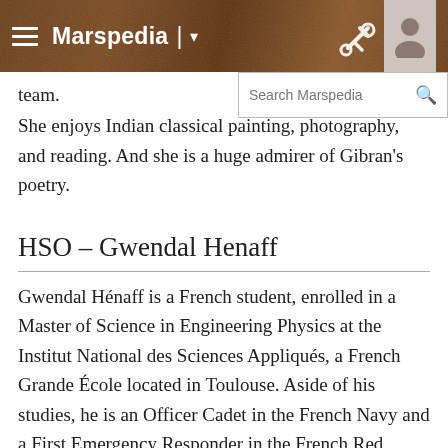Marspedia
team.
She enjoys Indian classical painting, photography, and reading. And she is a huge admirer of Gibran's poetry.
HSO – Gwendal Henaff
Gwendal Hénaff is a French student, enrolled in a Master of Science in Engineering Physics at the Institut National des Sciences Appliqués, a French Grande École located in Toulouse. Aside of his studies, he is an Officer Cadet in the French Navy and a First Emergency Responder in the French Red Cross. He has always been fascinated by space exploration and science. Throughout his schooling he has tried to focus his projects and experiences in these fields. After a national selection organized by the French space agency CNES, Gwendal participated in the VP125 Parabolic flight campaign, in November 2016. He and his team invented a precision inertial